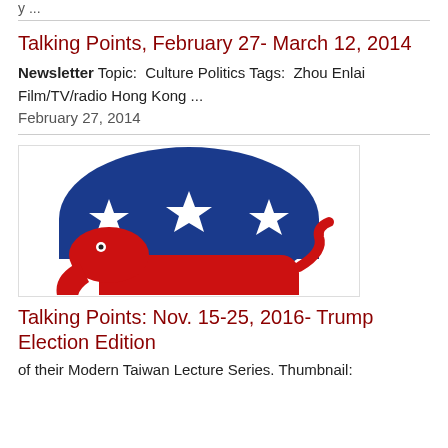y ...
Talking Points, February 27- March 12, 2014
Newsletter Topic:  Culture Politics Tags:  Zhou Enlai Film/TV/radio Hong Kong ...
February 27, 2014
[Figure (logo): Republican Party elephant logo: blue dome with three white stars on top, red elephant body below]
Talking Points: Nov. 15-25, 2016- Trump Election Edition
of their Modern Taiwan Lecture Series. Thumbnail: